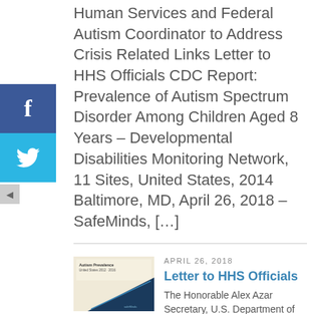Human Services and Federal Autism Coordinator to Address Crisis Related Links Letter to HHS Officials CDC Report: Prevalence of Autism Spectrum Disorder Among Children Aged 8 Years – Developmental Disabilities Monitoring Network, 11 Sites, United States, 2014 Baltimore, MD, April 26, 2018 – SafeMinds, […]
[Figure (other): Facebook share button (blue square with white 'f' icon)]
[Figure (other): Twitter share button (light blue square with white bird icon)]
[Figure (other): Left arrow / collapse button (gray small square)]
[Figure (illustration): Thumbnail image showing a report cover titled 'Autism Prevalence United States 2012-2016' with a dark navy triangle/slope graphic and SafeMinds branding]
APRIL 26, 2018
Letter to HHS Officials
The Honorable Alex Azar Secretary, U.S. Department of Health and Human Services